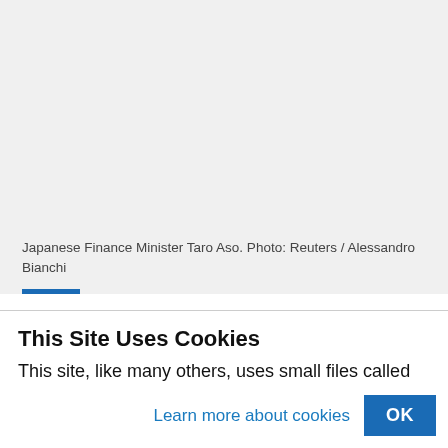[Figure (photo): Grey/light background area representing a photo placeholder of Japanese Finance Minister Taro Aso]
Japanese Finance Minister Taro Aso. Photo: Reuters / Alessandro Bianchi
This Site Uses Cookies
This site, like many others, uses small files called cookies to help us improve and customize your experience. Learn more about how we use cookies in our cookie policy.
Learn more about cookies
OK